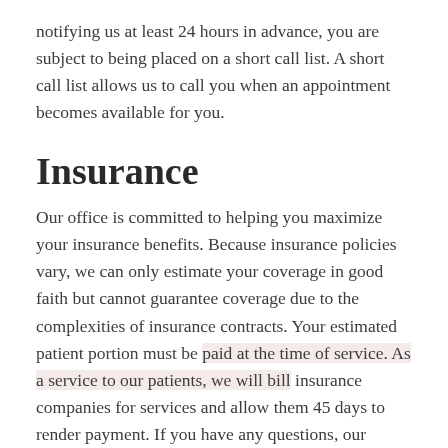notifying us at least 24 hours in advance, you are subject to being placed on a short call list. A short call list allows us to call you when an appointment becomes available for you.
Insurance
Our office is committed to helping you maximize your insurance benefits. Because insurance policies vary, we can only estimate your coverage in good faith but cannot guarantee coverage due to the complexities of insurance contracts. Your estimated patient portion must be paid at the time of service. As a service to our patients, we will bill insurance companies for services and allow them 45 days to render payment. If you have any questions, our courteous team is always available to answer them.
(partial, cut off at bottom)